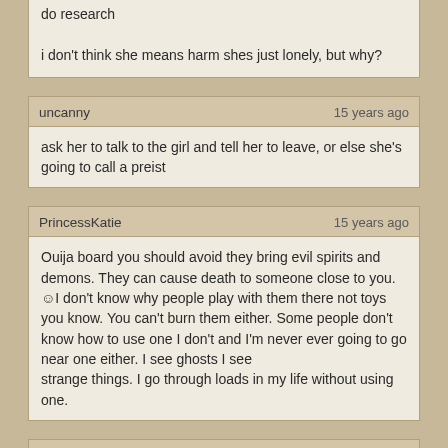do research

i don't think she means harm shes just lonely, but why?
uncanny — 15 years ago

ask her to talk to the girl and tell her to leave, or else she's going to call a preist
PrincessKatie — 15 years ago

Ouija board you should avoid they bring evil spirits and demons. They can cause death to someone close to you. ☺I don't know why people play with them there not toys you know. You can't burn them either. Some people don't know how to use one I don't and I'm never ever going to go near one either. I see ghosts I see strange things. I go through loads in my life without using one.
Abby — 15 years ago

Dear Melissa,

It looks like there is not much more that I can add, as everyone